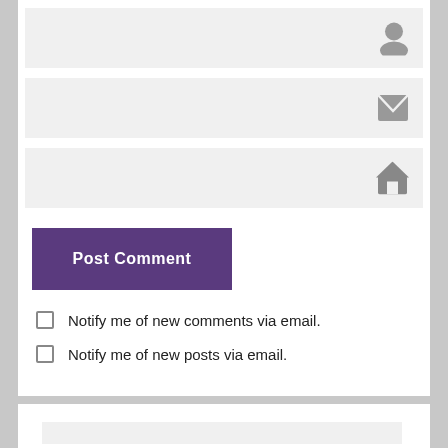[Figure (screenshot): Web comment form with three gray input fields (name, email, website), each with an icon on the right (person, envelope, house). Below is a purple 'Post Comment' button, and two checkboxes: 'Notify me of new comments via email.' and 'Notify me of new posts via email.']
Notify me of new comments via email.
Notify me of new posts via email.